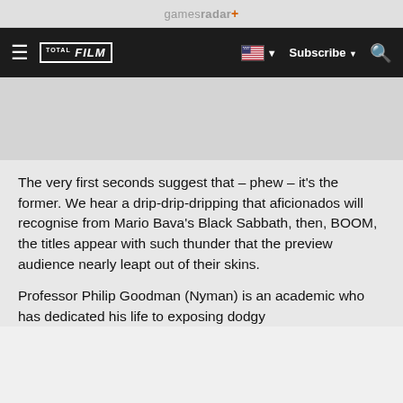gamesradar+
≡ TOTAL FILM | 🇺🇸 ▼ Subscribe ▼ 🔍
The very first seconds suggest that – phew – it's the former. We hear a drip-drip-dripping that aficionados will recognise from Mario Bava's Black Sabbath, then, BOOM, the titles appear with such thunder that the preview audience nearly leapt out of their skins.
Professor Philip Goodman (Nyman) is an academic who has dedicated his life to exposing dodgy